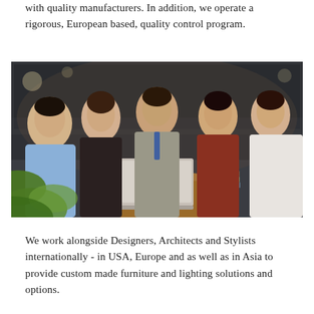with quality manufacturers. In addition, we operate a rigorous, European based, quality control program.
[Figure (photo): Five young adults of Asian descent gathered around a wooden table with a laptop and books, smiling at the camera in a cafe or co-working space setting. Green plant leaves visible in the foreground.]
We work alongside Designers, Architects and Stylists internationally - in USA, Europe and as well as in Asia to provide custom made furniture and lighting solutions and options.